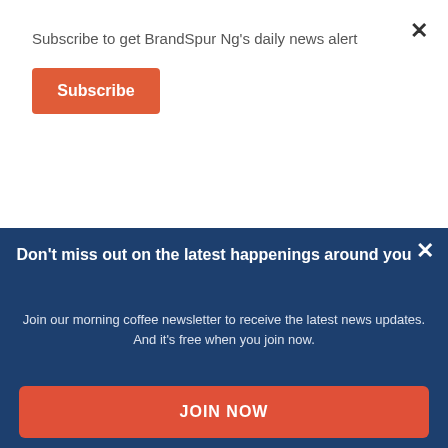Subscribe to get BrandSpur Ng's daily news alert
Subscribe
Outstanding Results For Mega-Brands Campaigns
Don't miss out on the latest happenings around you
Join our morning coffee newsletter to receive the latest news updates. And it's free when you join now.
Email
Name
JOIN NOW